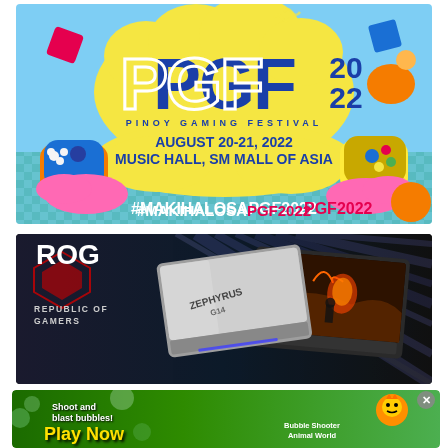[Figure (illustration): Pinoy Gaming Festival 2022 promotional banner with large PGF logo, event date August 20-21 2022, Music Hall SM Mall of Asia, hashtag #MAKIHALOSAPGF2022, colorful gaming decorations including controllers, clouds, and geometric shapes on teal background]
[Figure (illustration): ASUS Republic of Gamers (ROG) advertisement banner showing ROG logo, two gaming laptops against dark background with dramatic rays]
[Figure (advertisement): Mobile game advertisement: Shoot and blast bubbles! Play Now - Bubble Shooter Animal World, green background with cartoon animals, X close button]